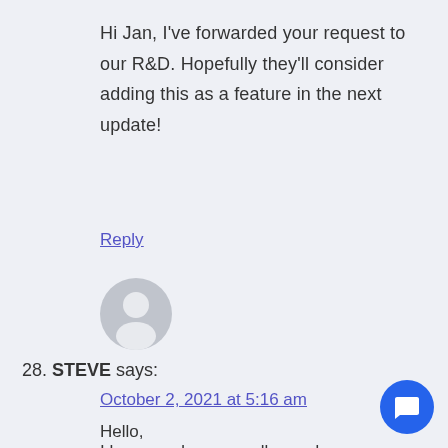Hi Jan, I've forwarded your request to our R&D. Hopefully they'll consider adding this as a feature in the next update!
Reply
[Figure (illustration): Gray circular avatar/profile placeholder icon]
28. STEVE says:
October 2, 2021 at 5:16 am
Hello,
I have read some really good reviews